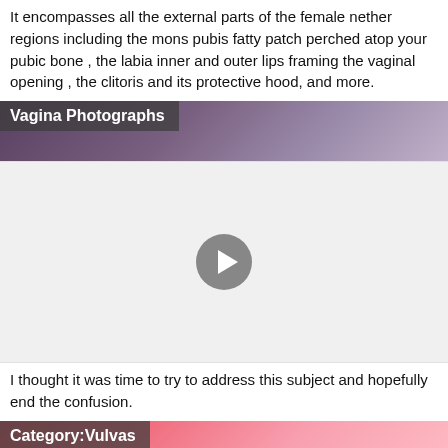It encompasses all the external parts of the female nether regions including the mons pubis fatty patch perched atop your pubic bone , the labia inner and outer lips framing the vaginal opening , the clitoris and its protective hood, and more.
[Figure (photo): Close-up anatomical photograph with label 'Vagina Photographs']
[Figure (screenshot): Video player with play button on white/light gray background]
I thought it was time to try to address this subject and hopefully end the confusion.
[Figure (photo): Close-up anatomical photograph with label 'Category:Vulvas']